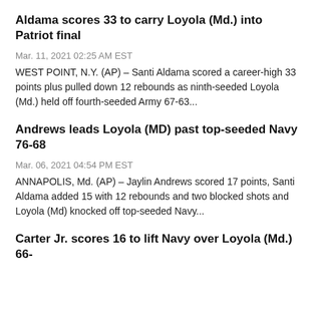Aldama scores 33 to carry Loyola (Md.) into Patriot final
Mar. 11, 2021 02:25 AM EST
WEST POINT, N.Y. (AP) – Santi Aldama scored a career-high 33 points plus pulled down 12 rebounds as ninth-seeded Loyola (Md.) held off fourth-seeded Army 67-63...
Andrews leads Loyola (MD) past top-seeded Navy 76-68
Mar. 06, 2021 04:54 PM EST
ANNAPOLIS, Md. (AP) – Jaylin Andrews scored 17 points, Santi Aldama added 15 with 12 rebounds and two blocked shots and Loyola (Md) knocked off top-seeded Navy...
Carter Jr. scores 16 to lift Navy over Loyola (Md.) 66-